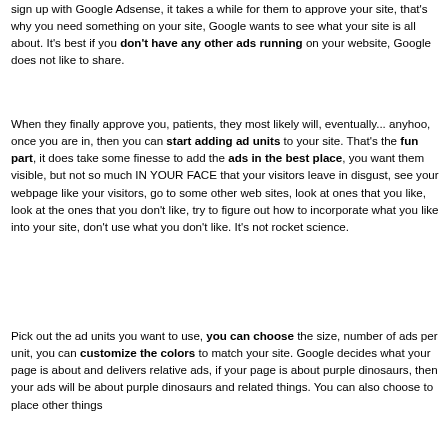sign up with Google Adsense, it takes a while for them to approve your site, that's why you need something on your site, Google wants to see what your site is all about. It's best if you don't have any other ads running on your website, Google does not like to share.
When they finally approve you, patients, they most likely will, eventually... anyhoo, once you are in, then you can start adding ad units to your site. That's the fun part, it does take some finesse to add the ads in the best place, you want them visible, but not so much IN YOUR FACE that your visitors leave in disgust, see your webpage like your visitors, go to some other web sites, look at ones that you like, look at the ones that you don't like, try to figure out how to incorporate what you like into your site, don't use what you don't like. It's not rocket science.
Pick out the ad units you want to use, you can choose the size, number of ads per unit, you can customize the colors to match your site. Google decides what your page is about and delivers relative ads, if your page is about purple dinosaurs, then your ads will be about purple dinosaurs and related things. You can also choose to place other things